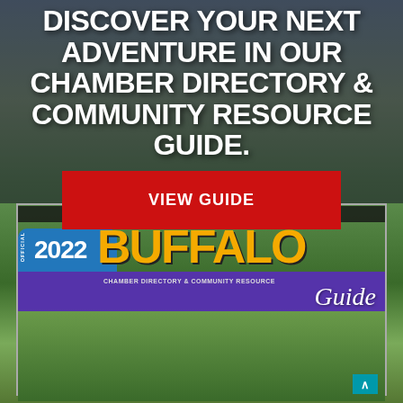DISCOVER YOUR NEXT ADVENTURE IN OUR CHAMBER DIRECTORY & COMMUNITY RESOURCE GUIDE.
VIEW GUIDE
[Figure (photo): Cover of the 2022 Buffalo Chamber Directory & Community Resource Guide. Features categories: Shopping, Family Fun, Community Events, Recreation, Business Information. Large yellow BUFFALO text, blue splash with 2022, purple bar with 'CHAMBER DIRECTORY & COMMUNITY RESOURCE Guide' text. Background shows trees and outdoor scene.]